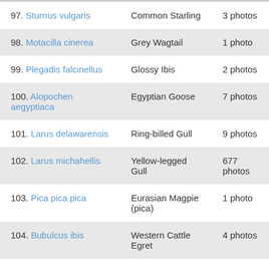| Species | Common Name | Photos |
| --- | --- | --- |
| 97. Sturnus vulgaris | Common Starling | 3 photos |
| 98. Motacilla cinerea | Grey Wagtail | 1 photo |
| 99. Plegadis falcinellus | Glossy Ibis | 2 photos |
| 100. Alopochen aegyptiaca | Egyptian Goose | 7 photos |
| 101. Larus delawarensis | Ring-billed Gull | 9 photos |
| 102. Larus michahellis | Yellow-legged Gull | 677 photos |
| 103. Pica pica pica | Eurasian Magpie (pica) | 1 photo |
| 104. Bubulcus ibis | Western Cattle Egret | 4 photos |
| 105. Neophron… | Egyptian Vulture… | 1 photo |